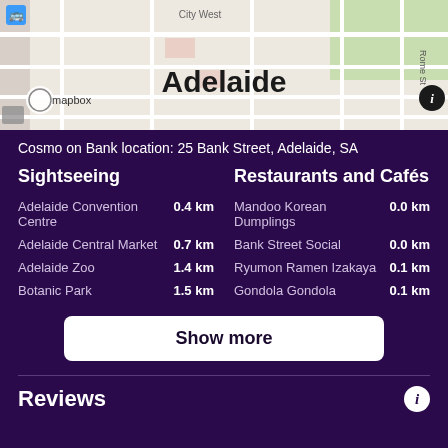[Figure (map): Map showing Adelaide city area with Mapbox branding. 'Adelaide' label in large bold text at center of map.]
Cosmo on Bank location: 25 Bank Street, Adelaide, SA
Sightseeing
Adelaide Convention Centre  0.4 km
Adelaide Central Market  0.7 km
Adelaide Zoo  1.4 km
Botanic Park  1.5 km
Restaurants and Cafés
Mandoo Korean Dumplings  0.0 km
Bank Street Social  0.0 km
Ryumon Ramen Izakaya  0.1 km
Gondola Gondola  0.1 km
Show more
Reviews